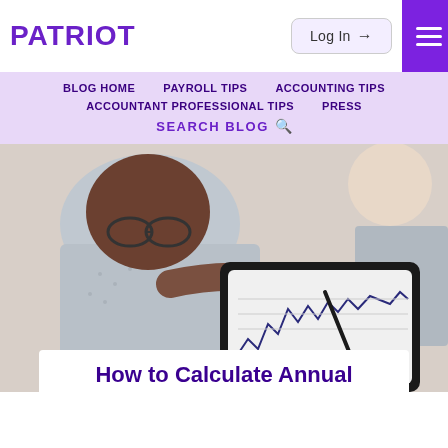PATRIOT
Log In →
☰
BLOG HOME
PAYROLL TIPS
ACCOUNTING TIPS
ACCOUNTANT PROFESSIONAL TIPS
PRESS
SEARCH BLOG 🔍
[Figure (photo): A man wearing glasses leaning over a tablet showing a financial chart, with another person partially visible on the right side.]
How to Calculate Annual